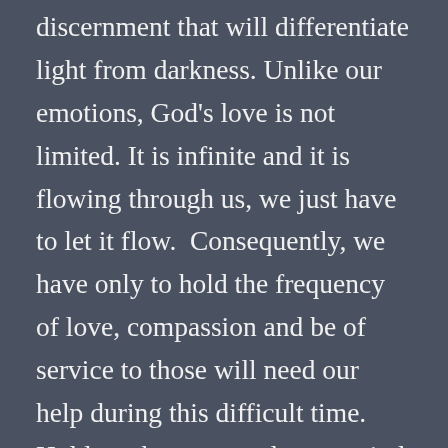discernment that will differentiate light from darkness. Unlike our emotions, God's love is not limited. It is infinite and it is flowing through us, we just have to let it flow.  Consequently, we have only to hold the frequency of love, compassion and be of service to those will need our help during this difficult time.   Hold our heart open, let our mind and emotions be at peace, and feel the love flow through us and out into the world. As we feel the love flowing through us, bless it. Set our intention to serve and we all can serve